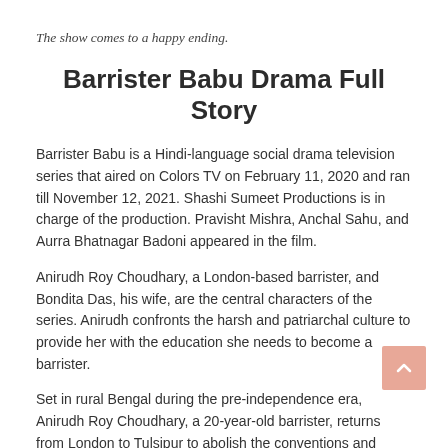The show comes to a happy ending.
Barrister Babu Drama Full Story
Barrister Babu is a Hindi-language social drama television series that aired on Colors TV on February 11, 2020 and ran till November 12, 2021. Shashi Sumeet Productions is in charge of the production. Pravisht Mishra, Anchal Sahu, and Aurra Bhatnagar Badoni appeared in the film.
Anirudh Roy Choudhary, a London-based barrister, and Bondita Das, his wife, are the central characters of the series. Anirudh confronts the harsh and patriarchal culture to provide her with the education she needs to become a barrister.
Set in rural Bengal during the pre-independence era, Anirudh Roy Choudhary, a 20-year-old barrister, returns from London to Tulsipur to abolish the conventions and societal beliefs that restrict women from progressing.
Saudamini "Mini" Bhaumik, a childhood friend, is poised to marry